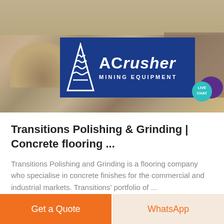[Figure (photo): Construction/mining site banner with ACrusher Mining Equipment logo overlay and Live Chat bubble. Background shows a gravel/aggregate site with machinery. The logo features a blue background with a triangle symbol and 'ACrusher MINING EQUIPMENT' text in white.]
Transitions Polishing & Grinding | Concrete flooring ...
Transitions Polishing and Grinding is a flooring company who specialise in concrete finishes for the commercial and industrial markets. Transitions' portfolio of ...
Get a Quote
WhatsApp